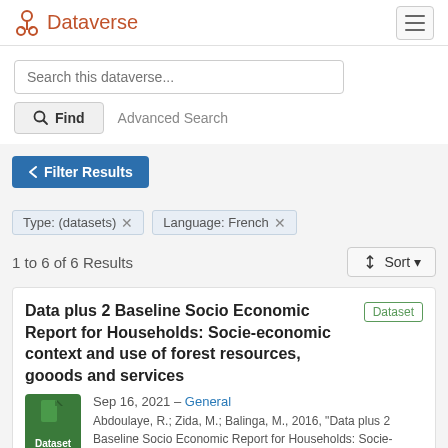Dataverse
Search this dataverse...
Find   Advanced Search
Filter Results
Type: (datasets) ✕   Language: French ✕
1 to 6 of 6 Results
Sort
Data plus 2 Baseline Socio Economic Report for Households: Socie-economic context and use of forest resources, gooods and services
Sep 16, 2021 – General
Abdoulaye, R.; Zida, M.; Balinga, M., 2016, "Data plus 2 Baseline Socio Economic Report for Households: Socie-economic context and use of forest resources, gooods and services"